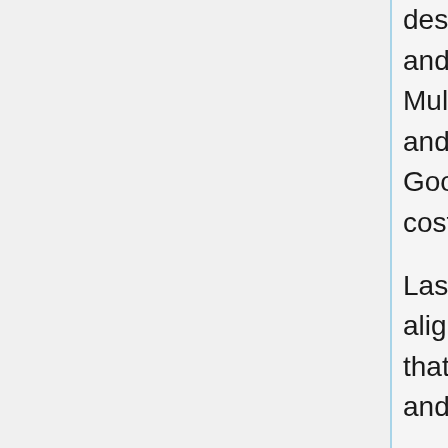description is evaluated using BLEU, METEOR, and CIDEr scores. Main findings include: (1) Multimodal RNN outperforms retrieval baseline, and (2) proposed model does not outperform Google NIC and LRCN, but it is simpler and less costly.
Last, the Multimodal RNN is trained on the aligning image regions with texts. Main finding is that region model outperforms full frame model and ranking baseline.
Though results are optimistic, there are several limitations with the Multimodal RNN model. Namely, it is limited to generating one input array of pixels at fixed resolution, it uses additive bias interaction to gather image information, and it is built on two separate models. -